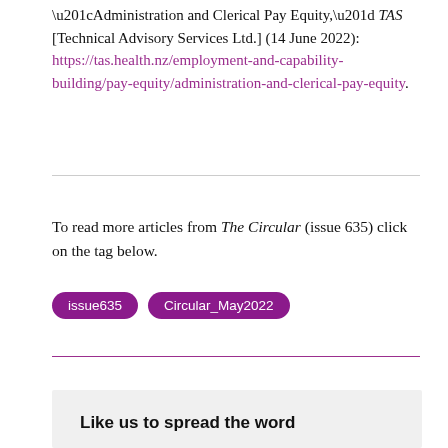“Administration and Clerical Pay Equity,” TAS [Technical Advisory Services Ltd.] (14 June 2022): https://tas.health.nz/employment-and-capability-building/pay-equity/administration-and-clerical-pay-equity.
To read more articles from The Circular (issue 635) click on the tag below.
issue635
Circular_May2022
Like us to spread the word